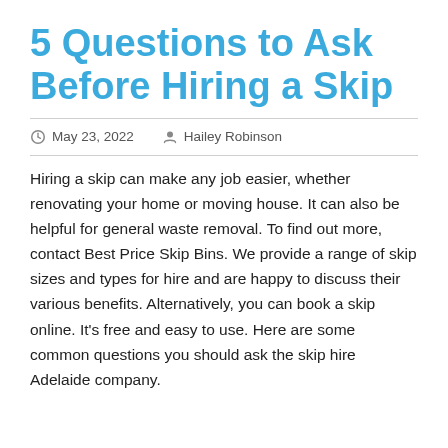5 Questions to Ask Before Hiring a Skip
May 23, 2022   Hailey Robinson
Hiring a skip can make any job easier, whether renovating your home or moving house. It can also be helpful for general waste removal. To find out more, contact Best Price Skip Bins. We provide a range of skip sizes and types for hire and are happy to discuss their various benefits. Alternatively, you can book a skip online. It’s free and easy to use. Here are some common questions you should ask the skip hire Adelaide company.